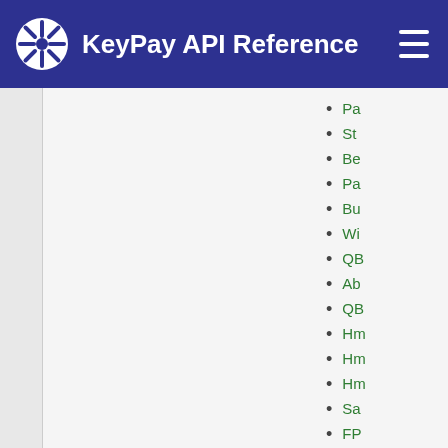KeyPay API Reference
Pa
St
Be
Pa
Bu
Wi
QB
Ab
QB
Hm
Hm
Hm
Sa
FP
OA
Fr
St
Ac